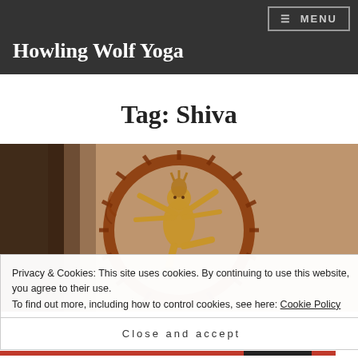MENU
Howling Wolf Yoga
Tag: Shiva
[Figure (photo): Bronze Nataraja (Shiva as Lord of Dance) sculpture mounted on a wall, showing the deity in a circular ring with multiple arms in a dancing pose]
Privacy & Cookies: This site uses cookies. By continuing to use this website, you agree to their use.
To find out more, including how to control cookies, see here: Cookie Policy
Close and accept